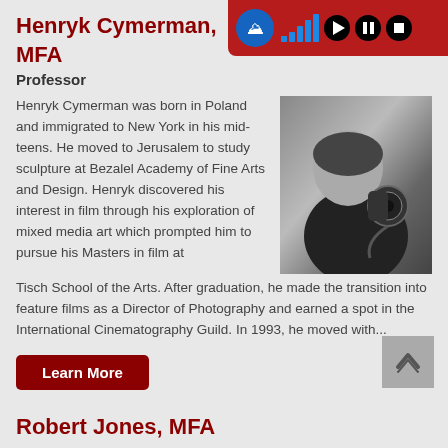Henryk Cymerman, MFA
Professor
Henryk Cymerman was born in Poland and immigrated to New York in his mid-teens. He moved to Jerusalem to study sculpture at Bezalel Academy of Fine Arts and Design. Henryk discovered his interest in film through his exploration of mixed media art which prompted him to pursue his Masters in film at Tisch School of the Arts. After graduation, he made the transition into feature films as a Director of Photography and earned a spot in the International Cinematography Guild. In 1993, he moved with...
[Figure (photo): Black and white portrait photo of Henryk Cymerman holding a camera]
Learn More
Robert Jones, MFA